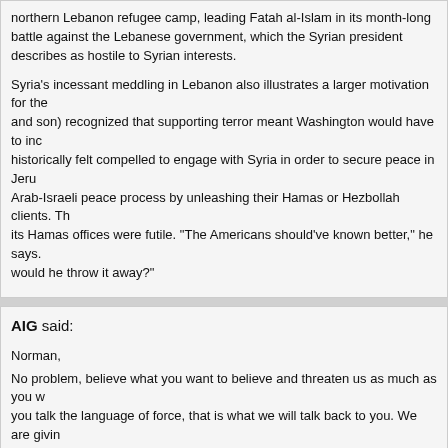northern Lebanon refugee camp, leading Fatah al-Islam in its month-long battle against the Lebanese government, which the Syrian president describes as hostile to Syrian interests.
Syria's incessant meddling in Lebanon also illustrates a larger motivation for the... and son) recognized that supporting terror meant Washington would have to inc... historically felt compelled to engage with Syria in order to secure peace in Jeru... Arab-Israeli peace process by unleashing their Hamas or Hezbollah clients. Th... its Hamas offices were futile. "The Americans should've known better," he says... would he throw it away?"
But perhaps the most significant driver of Syria's support for terrorism is that it d... group. "Bashar helped the groups in Iraq because there is an arrangement with... Qaeda use their borders to fight the Americans in Iraq is largely at the behest o... is against the interest of the Arabs and the West. Syria's alliance leaves it in the...
Khaddam dismisses the notion prevalent in some U.S. and Israeli circles that it... factions in the Damascus government, it is not about whether Syria should lean... money, not Iran. Everyone agrees about Iran."
But as Mufleh notes wryly, Assad would do well to learn the lessons of Syrian h... '80s that inadvertently helped defeat his Soviet patron. For all the good reasons... Islamist terror–a price infinitely higher than last month's U.S. raid on Syrian terri...
By Lee Smith
Reprinted with permission from The New Republic.
Feedback Terms of Service Privacy Statement
November 16th, 2008, 12:14 am
AIG said:
Norman,
No problem, believe what you want to believe and threaten us as much as you want. When you talk the language of force, that is what we will talk back to you. We are giving you a choice. If you are doing, then you will leave us no choice but to completely destroy you.